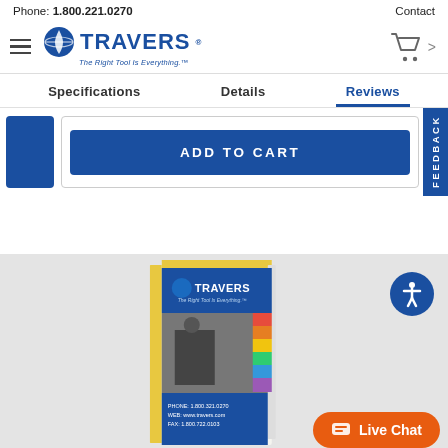Phone: 1.800.221.0270    Contact
[Figure (logo): Travers Tool Co. logo with globe icon and tagline 'The Right Tool Is Everything.']
Specifications   Details   Reviews
ADD TO CART
[Figure (illustration): FEEDBACK vertical tab on right side]
[Figure (photo): Travers catalog book cover shown in gray footer section]
[Figure (illustration): Blue accessibility icon button (person in circle)]
Live Chat